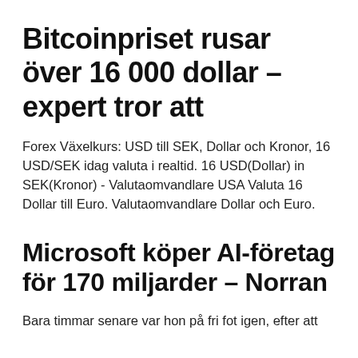Bitcoinpriset rusar över 16 000 dollar – expert tror att
Forex Växelkurs: USD till SEK, Dollar och Kronor, 16 USD/SEK idag valuta i realtid. 16 USD(Dollar) in SEK(Kronor) - Valutaomvandlare USA Valuta 16 Dollar till Euro. Valutaomvandlare Dollar och Euro.
Microsoft köper AI-företag för 170 miljarder – Norran
Bara timmar senare var hon på fri fot igen, efter att